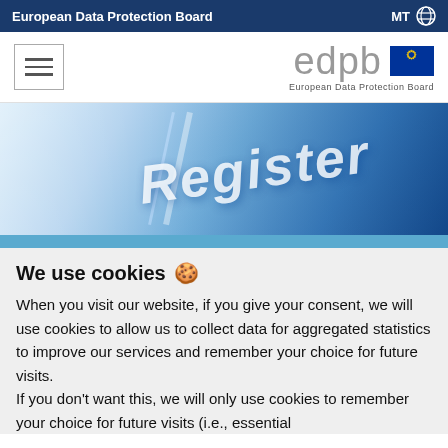European Data Protection Board | MT (globe icon)
[Figure (logo): EDPB logo with hamburger menu icon on left, edpb text logo and EU flag on right, with text 'European Data Protection Board' below]
[Figure (photo): Hero image showing a computer screen with 'Register' text in italic white letters, blue gradient background]
We use cookies 🍪
When you visit our website, if you give your consent, we will use cookies to allow us to collect data for aggregated statistics to improve our services and remember your choice for future visits. If you don't want this, we will only use cookies to remember your choice for future visits (i.e., essential